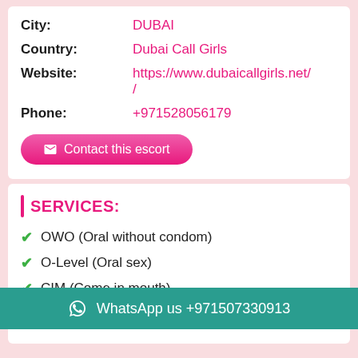City: DUBAI
Country: Dubai Call Girls
Website: https://www.dubaicallgirls.net/
Phone: +971528056179
Contact this escort
SERVICES:
OWO (Oral without condom)
O-Level (Oral sex)
CIM (Come in mouth)
COF (Come on face)
WhatsApp us +971507330913